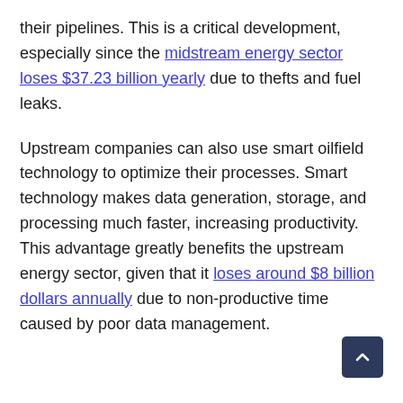their pipelines. This is a critical development, especially since the midstream energy sector loses $37.23 billion yearly due to thefts and fuel leaks.
Upstream companies can also use smart oilfield technology to optimize their processes. Smart technology makes data generation, storage, and processing much faster, increasing productivity. This advantage greatly benefits the upstream energy sector, given that it loses around $8 billion dollars annually due to non-productive time caused by poor data management.